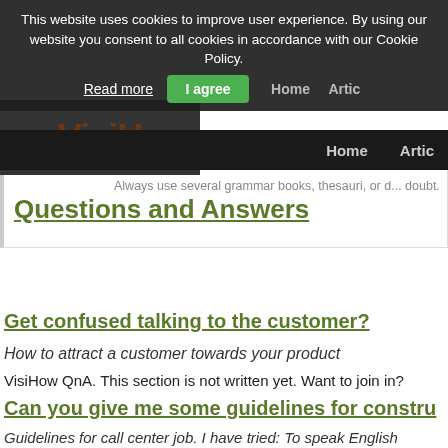This website uses cookies to improve user experience. By using our website you consent to all cookies in accordance with our Cookie Policy. Read more | I agree | Home | Artic...
Questions and Answers
Always use several grammar books, thesauri, or d... doubt.
Get confused talking to the customer?
How to attract a customer towards your product
VisiHow QnA. This section is not written yet. Want to join in?
Can you give me some guidelines for constru...
Guidelines for call center job. I have tried: To speak English practice and knowledge about English grammar
VisiHow QnA. This section is not written yet. Want to join in?